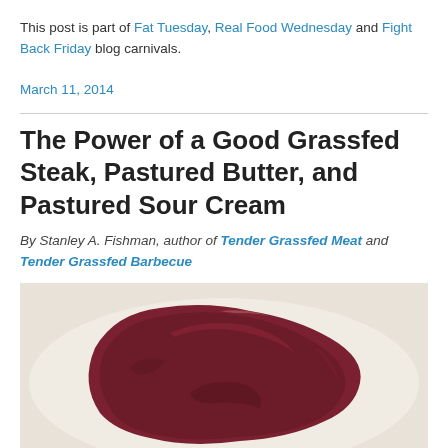This post is part of Fat Tuesday, Real Food Wednesday and Fight Back Friday blog carnivals.
March 11, 2014
The Power of a Good Grassfed Steak, Pastured Butter, and Pastured Sour Cream
By Stanley A. Fishman, author of Tender Grassfed Meat and Tender Grassfed Barbecue
[Figure (photo): A raw grassfed steak on a white plate, photographed from above. The steak is dark red/maroon in color with an irregular shape.]